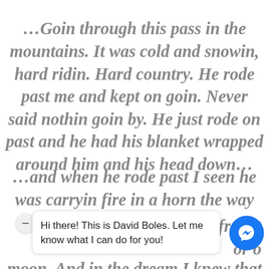…Goin through this pass in the mountains. It was cold and snowin, hard ridin. Hard country. He rode past me and kept on goin. Never said nothin goin by. He just rode on past and he had his blanket wrapped around him and his head down…
…and when he rode past I seen he was carryin fire in a horn the way people used to do and I could see the horn from the light inside of it. About the color of the moon. And in the dream I knew that he was
Hi there! This is David Boles. Let me know what I can do for you!